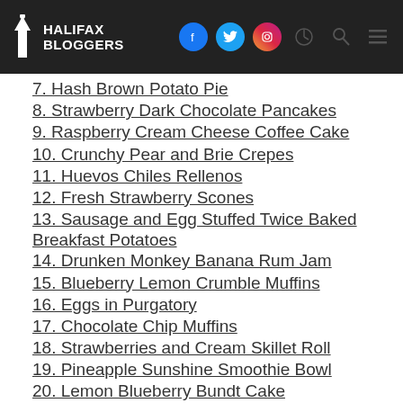Halifax Bloggers
7. Hash Brown Potato Pie
8. Strawberry Dark Chocolate Pancakes
9. Raspberry Cream Cheese Coffee Cake
10. Crunchy Pear and Brie Crepes
11. Huevos Chiles Rellenos
12. Fresh Strawberry Scones
13. Sausage and Egg Stuffed Twice Baked Breakfast Potatoes
14. Drunken Monkey Banana Rum Jam
15. Blueberry Lemon Crumble Muffins
16. Eggs in Purgatory
17. Chocolate Chip Muffins
18. Strawberries and Cream Skillet Roll
19. Pineapple Sunshine Smoothie Bowl
20. Lemon Blueberry Bundt Cake
21. Peach White Wine Slushies
22. Cheddar Cheese Tea Biscuits